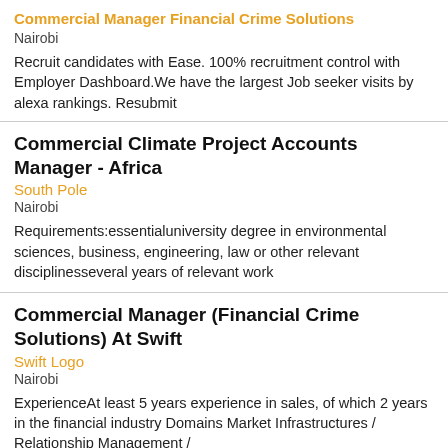Commercial Manager Financial Crime Solutions
Nairobi
Recruit candidates with Ease. 100% recruitment control with Employer Dashboard.We have the largest Job seeker visits by alexa rankings. Resubmit
Commercial Climate Project Accounts Manager - Africa
South Pole
Nairobi
Requirements:essentialuniversity degree in environmental sciences, business, engineering, law or other relevant disciplinesseveral years of relevant work
Commercial Manager (Financial Crime Solutions) At Swift
Swift Logo
Nairobi
ExperienceAt least 5 years experience in sales, of which 2 years in the financial industry Domains Market Infrastructures / Relationship Management /
Commercial Manager (Financial Crime Solutions) At Swift
Swift
Nairobi